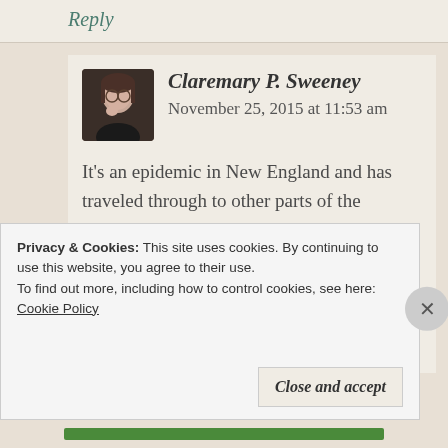Reply
[Figure (photo): Profile photo of Claremary P. Sweeney, a woman with glasses]
Claremary P. Sweeney  November 25, 2015 at 11:53 am
It’s an epidemic in New England and has traveled through to other parts of the country. Health plans, pharmaceutical companies and the government colluded to keep treatment at a bare minimum if at all. They wouldn’t admit it was a real disease for years until children
Privacy & Cookies: This site uses cookies. By continuing to use this website, you agree to their use.
To find out more, including how to control cookies, see here: Cookie Policy
Close and accept